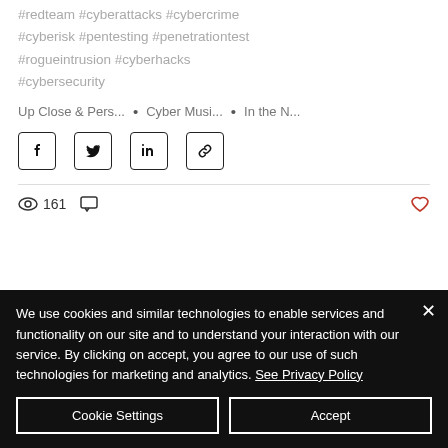#redteam #cyberattacks #cybercrime #cyberisk #pentesting #penetrationtest #rogueintrusion #cyberhacks #cybersecurity
Up Close & Pers...  •  Cyber Musi...  •  In the N...
[Figure (infographic): Social share buttons: Facebook, Twitter, LinkedIn, Link]
161 views, comment icon, heart/like button
We use cookies and similar technologies to enable services and functionality on our site and to understand your interaction with our service. By clicking on accept, you agree to our use of such technologies for marketing and analytics. See Privacy Policy
Cookie Settings    Accept